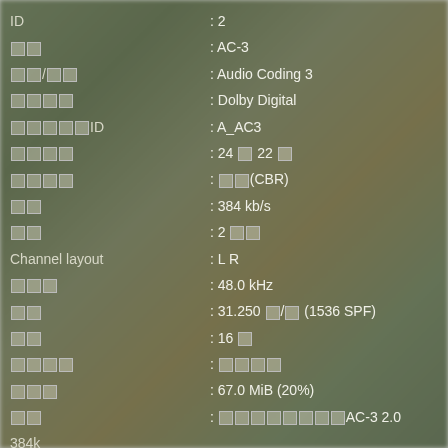| Field | Value |
| --- | --- |
| ID | : 2 |
| □□ | : AC-3 |
| □□/□□ | : Audio Coding 3 |
| □□□□ | : Dolby Digital |
| □□□□□ID | : A_AC3 |
| □□□□ | : 24 □ 22 □ |
| □□□□ | : □□(CBR) |
| □□ | : 384 kb/s |
| □□ | : 2 □□ |
| Channel layout | : L R |
| □□□ | : 48.0 kHz |
| □□ | : 31.250 □/□ (1536 SPF) |
| □□ | : 16 □ |
| □□□□ | : □□□□ |
| □□□ | : 67.0 MiB (20%) |
| □□ | : □□□□□□□□AC-3 2.0 384k |
| □□ | : □□(Japanese) |